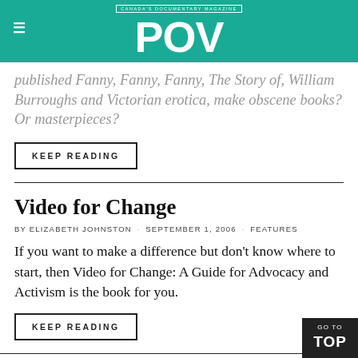CANADA'S DOCUMENTARY MAGAZINE | POV
published Fanny, Fanny, Fanny, The Story of, William Burroughs and Victorian erotica, make obscene books? Or masterpieces?
KEEP READING
Video for Change
BY ELIZABETH JOHNSTON · SEPTEMBER 1, 2006 · FEATURES
If you want to make a difference but don't know where to start, then Video for Change: A Guide for Advocacy and Activism is the book for you.
KEEP READING